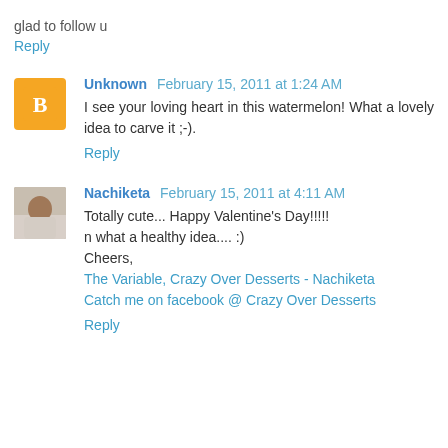glad to follow u
Reply
Unknown February 15, 2011 at 1:24 AM
I see your loving heart in this watermelon! What a lovely idea to carve it ;-).
Reply
Nachiketa February 15, 2011 at 4:11 AM
Totally cute... Happy Valentine's Day!!!!!
n what a healthy idea.... :)
Cheers,
The Variable, Crazy Over Desserts - Nachiketa
Catch me on facebook @ Crazy Over Desserts
Reply